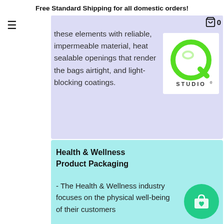Free Standard Shipping for all domestic orders!
these elements with reliable, impermeable material, heat sealable openings that render the bags airtight, and light-blocking coatings.
[Figure (logo): Q Studio logo — green Q letter with STUDIO text below on white background]
Health & Wellness Product Packaging
- The Health & Wellness industry focuses on the physical well-being of their customers